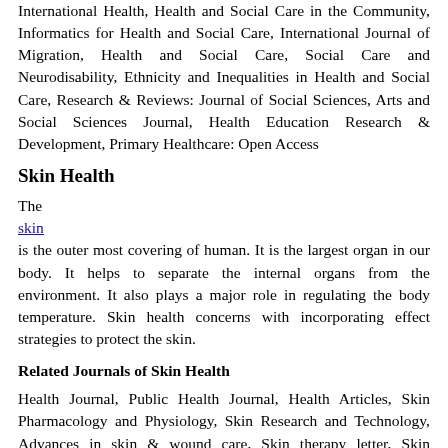International Health, Health and Social Care in the Community, Informatics for Health and Social Care, International Journal of Migration, Health and Social Care, Social Care and Neurodisability, Ethnicity and Inequalities in Health and Social Care, Research & Reviews: Journal of Social Sciences, Arts and Social Sciences Journal, Health Education Research & Development, Primary Healthcare: Open Access
Skin Health
The skin is the outer most covering of human. It is the largest organ in our body. It helps to separate the internal organs from the environment. It also plays a major role in regulating the body temperature. Skin health concerns with incorporating effect strategies to protect the skin.
Related Journals of Skin Health
Health Journal, Public Health Journal, Health Articles, Skin Pharmacology and Physiology, Skin Research and Technology, Advances in skin & wound care, Skin therapy letter, Skin Research, Melanoma and Skin Diseases, Clinics in Mother and Child Health, Health Education Research & Development, Primary